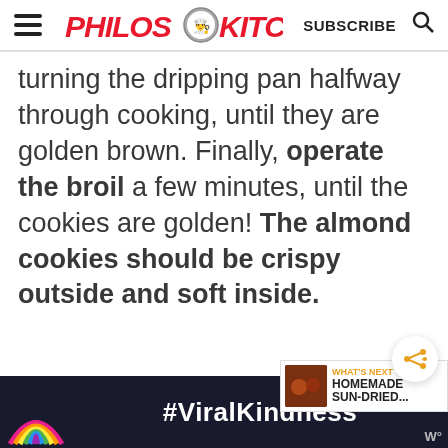PHILOS KITCHEN | SUBSCRIBE
turning the dripping pan halfway through cooking, until they are golden brown. Finally, operate the broil a few minutes, until the cookies are golden! The almond cookies should be crispy outside and soft inside.
[Figure (other): What's Next widget showing 'HOMEMADE SUN-DRIED...' with a thumbnail image]
[Figure (other): Advertisement banner with a rainbow graphic and #ViralKindness text on dark background]